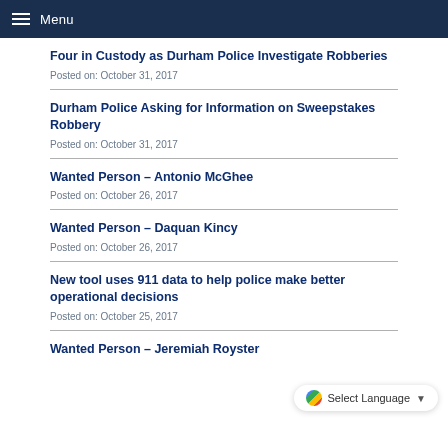Menu
Four in Custody as Durham Police Investigate Robberies
Posted on: October 31, 2017
Durham Police Asking for Information on Sweepstakes Robbery
Posted on: October 31, 2017
Wanted Person – Antonio McGhee
Posted on: October 26, 2017
Wanted Person – Daquan Kincy
Posted on: October 26, 2017
New tool uses 911 data to help police make better operational decisions
Posted on: October 25, 2017
Wanted Person – Jeremiah Royster